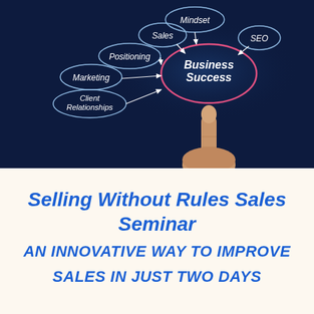[Figure (infographic): Dark navy blue background with a business success mind map diagram showing ellipses labeled Mindset, SEO, Sales, Positioning, Marketing, Client Relationships all pointing with arrows to a pink-outlined ellipse labeled Business Success in the center-right. A finger pointing upward toward the Business Success ellipse from below.]
Selling Without Rules Sales Seminar
AN INNOVATIVE WAY TO IMPROVE SALES IN JUST TWO DAYS